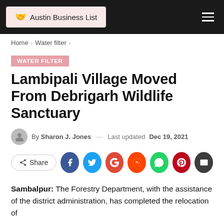Austin Business List
Home > Water filter >
WATER FILTER
Lambipali Village Moved From Debrigarh Wildlife Sanctuary
By Sharon J. Jones — Last updated Dec 19, 2021
Share
Sambalpur: The Forestry Department, with the assistance of the district administration, has completed the relocation of